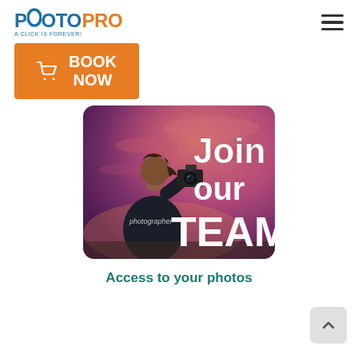PHOTOPRO - A CLICK IS FOREVER!
[Figure (logo): PhotoPro logo with blue PHOTO and orange PRO text, tagline 'A CLICK IS FOREVER!']
[Figure (illustration): Orange Book Now button with shopping cart icon]
[Figure (photo): Photographer seen from behind holding a camera against a pink/purple sunset sky with text 'Join our TEAM' overlaid in white bold font]
Access to your photos